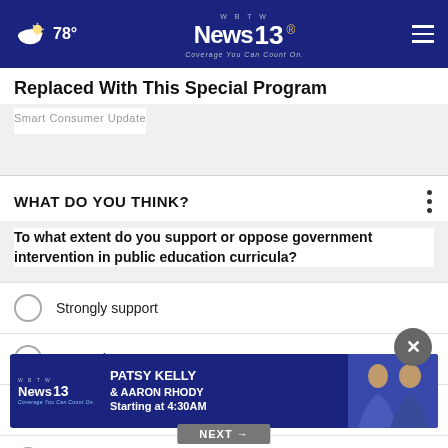WBTW News 13 — Coverage You Can Count On. 78°
Replaced With This Special Program
Smart Consumer Update
WHAT DO YOU THINK?
To what extent do you support or oppose government intervention in public education curricula?
Strongly support
Somewhat support
Somewhat oppose
Strongly oppose
[Figure (screenshot): WBTW News 13 advertisement banner with Patsy Kelly & Aaron Rhody, Starting at 4:30AM]